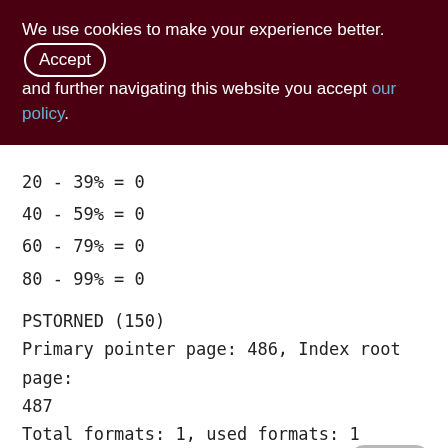We use cookies to make your experience better. By accepting and further navigating this website you accept our policy.
20 - 39% = 0
40 - 59% = 0
60 - 79% = 0
80 - 99% = 0
PSTORNED (150)
Primary pointer page: 486, Index root page: 487
Total formats: 1, used formats: 1
Average record length: 48.29, total records: 151278
Average version length: 47.79, total